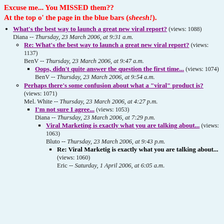Excuse me... You MISSED them?? At the top o' the page in the blue bars (sheesh!).
What's the best way to launch a great new viral report? (views: 1088) Diana -- Thursday, 23 March 2006, at 9:31 a.m.
Re: What's the best way to launch a great new viral report? (views: 1137) BenV -- Thursday, 23 March 2006, at 9:47 a.m.
Oops, didn't quite answer the question the first time... (views: 1074) BenV -- Thursday, 23 March 2006, at 9:54 a.m.
Perhaps there's some confusion about what a "viral" product is? (views: 1071) Mel. White -- Thursday, 23 March 2006, at 4:27 p.m.
I'm not sure I agree... (views: 1053) Diana -- Thursday, 23 March 2006, at 7:29 p.m.
Viral Marketing is exactly what you are talking about... (views: 1063) Bluto -- Thursday, 23 March 2006, at 9:43 p.m.
Re: Viral Marketig is exactly what you are talking about... (views: 1060) Eric -- Saturday, 1 April 2006, at 6:05 a.m.